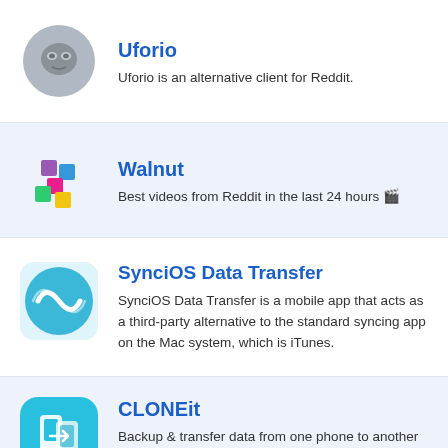[Figure (logo): Uforio app icon: grey circle with alien face silhouette]
Uforio
Uforio is an alternative client for Reddit.
[Figure (logo): Walnut app icon: colorful squares arranged in a scattered pattern (purple, blue, pink, green, yellow)]
Walnut
Best videos from Reddit in the last 24 hours 🎬
[Figure (logo): SynciOS Data Transfer app icon: teal/cyan circle with a wave or sync symbol]
SynciOS Data Transfer
SynciOS Data Transfer is a mobile app that acts as a third-party alternative to the standard syncing app on the Mac system, which is iTunes.
[Figure (logo): CLONEit app icon: light blue rounded square with phone clone/transfer symbol]
CLONEit
Backup & transfer data from one phone to another in 2